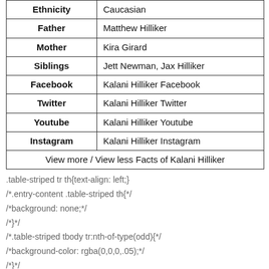| Ethnicity | Caucasian |
| Father | Matthew Hilliker |
| Mother | Kira Girard |
| Siblings | Jett Newman, Jax Hilliker |
| Facebook | Kalani Hilliker Facebook |
| Twitter | Kalani Hilliker Twitter |
| Youtube | Kalani Hilliker Youtube |
| Instagram | Kalani Hilliker Instagram |
| View more / View less Facts of Kalani Hilliker |  |
.table-striped tr th{text-align: left;}
/*.entry-content .table-striped th{*/
/*background: none;*/
/*}*/
/*.table-striped tbody tr:nth-of-type(odd){*/
/*background-color: rgba(0,0,0,.05);*/
/*}*/